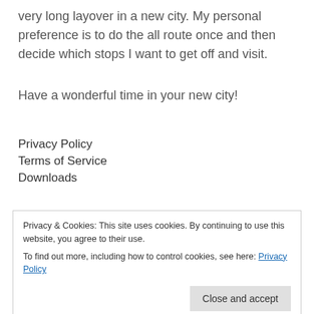very long layover in a new city. My personal preference is to do the all route once and then decide which stops I want to get off and visit.
Have a wonderful time in your new city!
Privacy Policy
Terms of Service
Downloads
Sitemap
Send Us a Message
Privacy & Cookies: This site uses cookies. By continuing to use this website, you agree to their use. To find out more, including how to control cookies, see here: Privacy Policy
Send Us a Message
How We Make Money